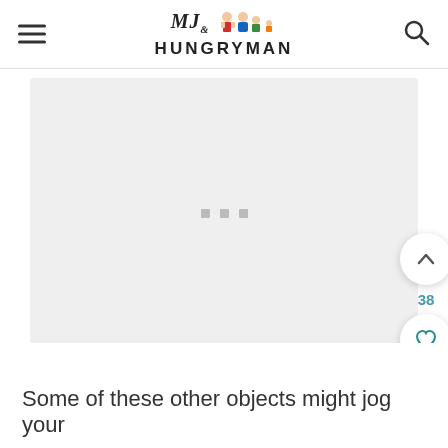MJ & HUNGRYMAN
[Figure (photo): Large light gray placeholder image area with three small gray square dots in the center, representing a loading or placeholder food photo. Floating action buttons on the right side: an up-arrow button, a count of 38, a heart/favorite button, and a teal search button.]
Some of these other objects might jog your